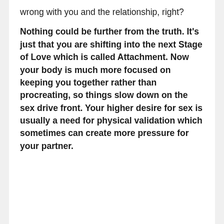wrong with you and the relationship, right?
Nothing could be further from the truth. It's just that you are shifting into the next Stage of Love which is called Attachment. Now your body is much more focused on keeping you together rather than procreating, so things slow down on the sex drive front. Your higher desire for sex is usually a need for physical validation which sometimes can create more pressure for your partner.